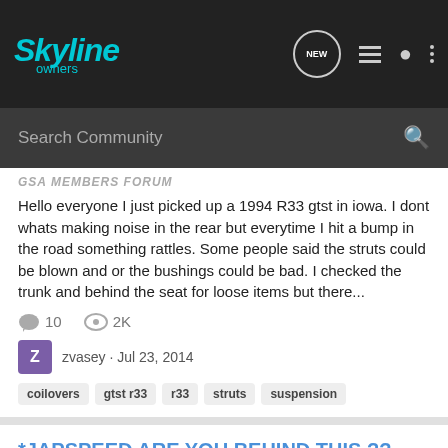Skyline owners
Search Community
GSA MEMBERS FORUM
Hello everyone I just picked up a 1994 R33 gtst in iowa. I dont whats making noise in the rear but everytime I hit a bump in the road something rattles. Some people said the struts could be blown and or the bushings could be bad. I checked the trunk and behind the seat for loose items but there...
10   2K
zvasey · Jul 23, 2014
coilovers
gtst r33
r33
struts
suspension
*JAPSPEED ARE YOU BEHIND THIS ??
General